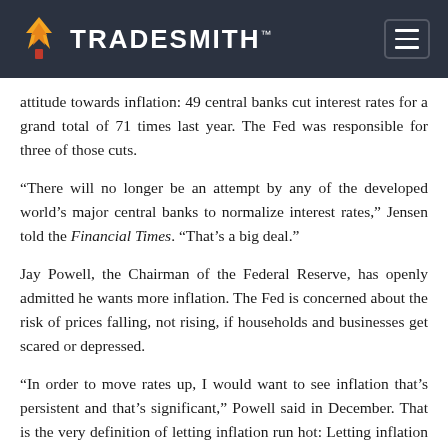TradeSmith™
attitude towards inflation: 49 central banks cut interest rates for a grand total of 71 times last year. The Fed was responsible for three of those cuts.
“There will no longer be an attempt by any of the developed world’s major central banks to normalize interest rates,” Jensen told the Financial Times. “That’s a big deal.”
Jay Powell, the Chairman of the Federal Reserve, has openly admitted he wants more inflation. The Fed is concerned about the risk of prices falling, not rising, if households and businesses get scared or depressed.
“In order to move rates up, I would want to see inflation that’s persistent and that’s significant,” Powell said in December. That is the very definition of letting inflation run hot: Letting inflation trends